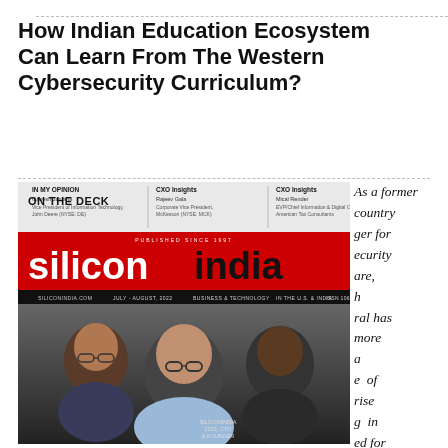How Indian Education Ecosystem Can Learn From The Western Cybersecurity Curriculum?
[Figure (photo): Silicon India magazine cover (July-August 2022) showing three men on the cover, with the siliconindia logo in red. Magazine sections visible including ON THE DECK, IN MY OPINION, CXO Insights panels at top.]
As a former country manager for security are, h ral has more a e of rise g in ed for